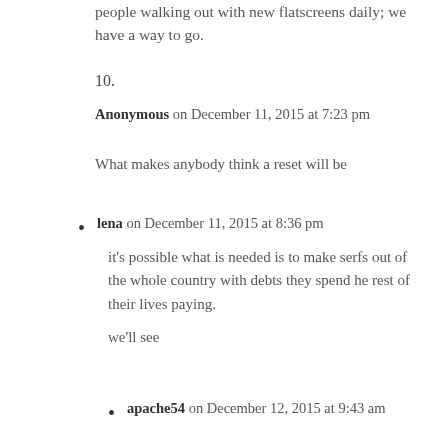people walking out with new flatscreens daily; we have a way to go.
10.
Anonymous on December 11, 2015 at 7:23 pm
What makes anybody think a reset will be
lena on December 11, 2015 at 8:36 pm
it’s possible what is needed is to make serfs out of the whole country with debts they spend he rest of their lives paying.

we’ll see
apache54 on December 12, 2015 at 9:43 am